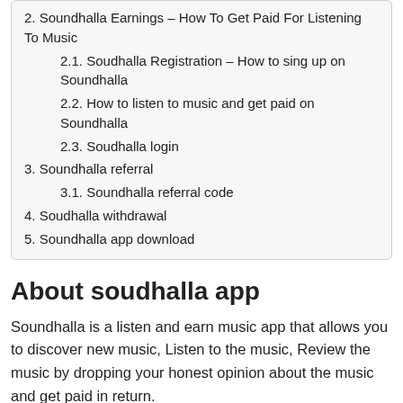2. Soundhalla Earnings – How To Get Paid For Listening To Music
2.1. Soudhalla Registration – How to sing up on Soundhalla
2.2. How to listen to music and get paid on Soundhalla
2.3. Soudhalla login
3. Soundhalla referral
3.1. Soundhalla referral code
4. Soudhalla withdrawal
5. Soundhalla app download
About soudhalla app
Soundhalla is a listen and earn music app that allows you to discover new music, Listen to the music, Review the music by dropping your honest opinion about the music and get paid in return.